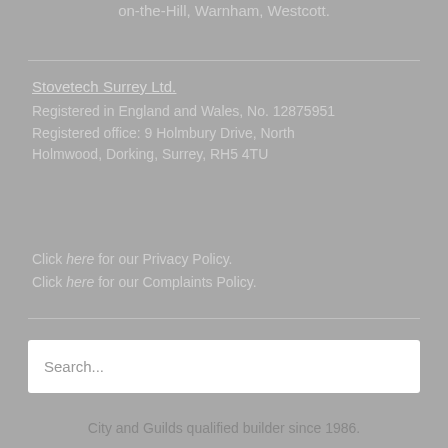on-the-Hill, Warnham, Westcott.
Stovetech Surrey Ltd.
Registered in England and Wales, No. 12875951
Registered office: 9 Holmbury Drive, North Holmwood, Dorking, Surrey, RH5 4TU
Click here for our Privacy Policy.
Click here for our Complaints Policy.
Search...
City and Guilds qualified builder since 1986.